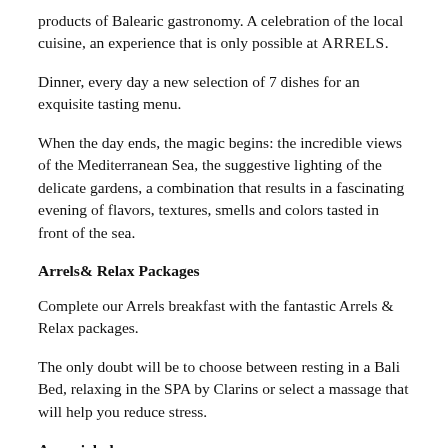products of Balearic gastronomy. A celebration of the local cuisine, an experience that is only possible at ARRELS.
Dinner, every day a new selection of 7 dishes for an exquisite tasting menu.
When the day ends, the magic begins: the incredible views of the Mediterranean Sea, the suggestive lighting of the delicate gardens, a combination that results in a fascinating evening of flavors, textures, smells and colors tasted in front of the sea.
Arrels& Relax Packages
Complete our Arrels breakfast with the fantastic Arrels & Relax packages.
The only doubt will be to choose between resting in a Bali Bed, relaxing in the SPA by Clarins or select a massage that will help you reduce stress.
A special place
The taste for the original products of the island and simple